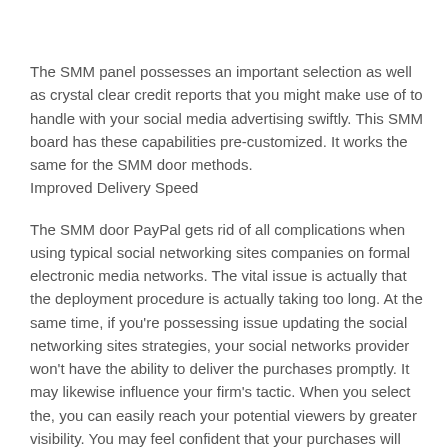The SMM panel possesses an important selection as well as crystal clear credit reports that you might make use of to handle with your social media advertising swiftly. This SMM board has these capabilities pre-customized. It works the same for the SMM door methods. Improved Delivery Speed
The SMM door PayPal gets rid of all complications when using typical social networking sites companies on formal electronic media networks. The vital issue is actually that the deployment procedure is actually taking too long. At the same time, if you're possessing issue updating the social networking sites strategies, your social networks provider won't have the ability to deliver the purchases promptly. It may likewise influence your firm's tactic. When you select the, you can easily reach your potential viewers by greater visibility. You may feel confident that your purchases will certainly be given on schedule. Because of this, the results will certainly possess no bearing on business campaigns. The SMM boards give real-time comments, likes, memberships, viewpoints,